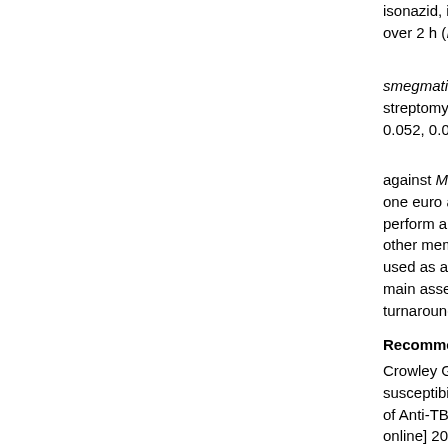isonazid, iifampicin, pyranza... over 2 h (P= 0.015, 0.018, 0.0...
smegmatis mc2 155 is resista... streptomycin as phage numb... 0.052, 0.049, and 0.04). This c...
against M. smegmatis mc2 15... one euro and fifteen cent to ... perform and will have widesp... other members of the mycob... used as a tool for high-throu... main assets of this assay incl... turnaround time.
Recommended Citation
Crowley GC, O'Mahony J, Coffe... susceptibility assay utilizing m... of Anti-TB drugs against Mycob... online] 2019 [cited 2020 May 2... http://www.ijmyco.org/text.asp...
DOI
https://doi.org/10.4103/ijmy.ij...